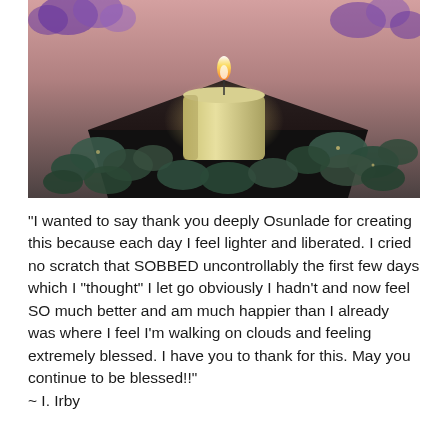[Figure (photo): A lit cream/yellow pillar candle on a dark bowl or plate, surrounded by smooth dark river stones and purple flowers in the background. Warm, peaceful ambiance.]
"I wanted to say thank you deeply Osunlade for creating this because each day I feel lighter and liberated. I cried no scratch that SOBBED uncontrollably the first few days which I "thought" I let go obviously I hadn't and now feel SO much better and am much happier than I already was where I feel I'm walking on clouds and feeling extremely blessed. I have you to thank for this. May you continue to be blessed!!"
~ I. Irby